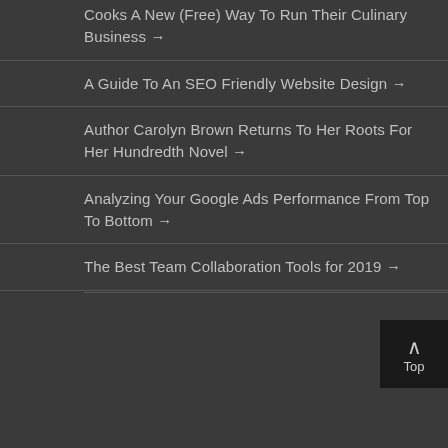Cooks A New (Free) Way To Run Their Culinary Business →
A Guide To An SEO Friendly Website Design →
Author Carolyn Brown Returns To Her Roots For Her Hundredth Novel →
Analyzing Your Google Ads Performance From Top To Bottom →
The Best Team Collaboration Tools for 2019 →